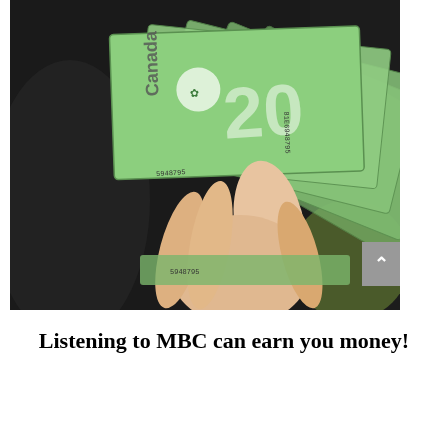[Figure (photo): A hand holding a fan of Canadian $20 bills (green polymer banknotes with 'Canada' text and serial number 81E6948795 visible), photographed in what appears to be a car interior.]
Listening to MBC can earn you money!